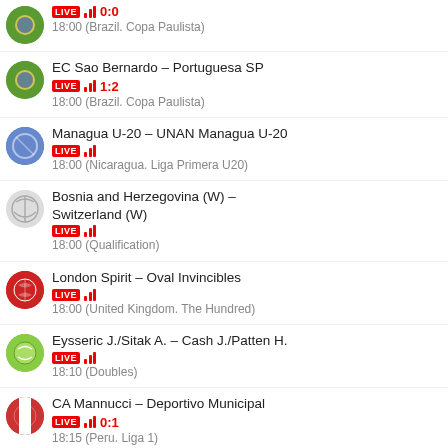LIVE ||| 0:0
18:00 (Brazil. Copa Paulista)
EC Sao Bernardo – Portuguesa SP
LIVE ||| 1:2
18:00 (Brazil. Copa Paulista)
Managua U-20 – UNAN Managua U-20
LIVE |||
18:00 (Nicaragua. Liga Primera U20)
Bosnia and Herzegovina (W) – Switzerland (W)
LIVE |||
18:00 (Qualification)
London Spirit – Oval Invincibles
LIVE |||
18:00 (United Kingdom. The Hundred)
Eysseric J./Sitak A. – Cash J./Patten H.
LIVE |||
18:10 (Doubles)
CA Mannucci – Deportivo Municipal
LIVE ||| 0:1
18:15 (Peru. Liga 1)
Domzale – Koper
LIVE ||| 0:0
18:15 (Slovenia. PrvaLiga)
Newell`s Old Boys – Godoy Cruz
LIVE ||| 0:1
18:30 (Argentina. Liga Profesional)
Banfield – Defensa y Justicia
LIVE ||| 0:0
18:30 (Argentina. Liga Profesional)